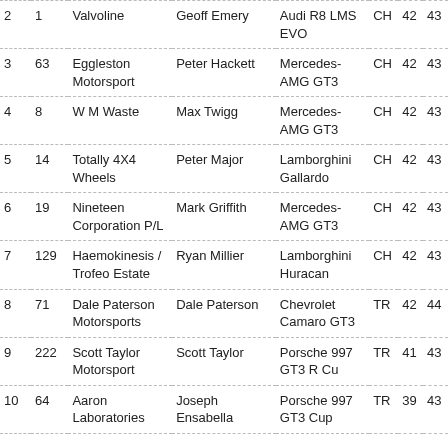| 2 | 1 | Valvoline | Geoff Emery | Audi R8 LMS EVO | CH | 42 | 43 |
| 3 | 63 | Eggleston Motorsport | Peter Hackett | Mercedes-AMG GT3 | CH | 42 | 43 |
| 4 | 8 | W M Waste | Max Twigg | Mercedes-AMG GT3 | CH | 42 | 43 |
| 5 | 14 | Totally 4X4 Wheels | Peter Major | Lamborghini Gallardo | CH | 42 | 43 |
| 6 | 19 | Nineteen Corporation P/L | Mark Griffith | Mercedes-AMG GT3 | CH | 42 | 43 |
| 7 | 129 | Haemokinesis / Trofeo Estate | Ryan Millier | Lamborghini Huracan | CH | 42 | 43 |
| 8 | 71 | Dale Paterson Motorsports | Dale Paterson | Chevrolet Camaro GT3 | TR | 42 | 44 |
| 9 | 222 | Scott Taylor Motorsport | Scott Taylor | Porsche 997 GT3 R Cu | TR | 41 | 43 |
| 10 | 64 | Aaron Laboratories | Joseph Ensabella | Porsche 997 GT3 Cup | TR | 39 | 43 |